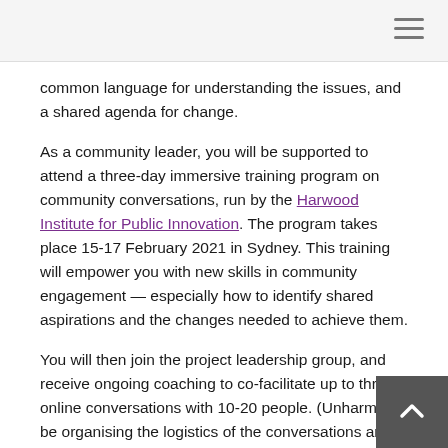☰
common language for understanding the issues, and a shared agenda for change.
As a community leader, you will be supported to attend a three-day immersive training program on community conversations, run by the Harwood Institute for Public Innovation. The program takes place 15-17 February 2021 in Sydney. This training will empower you with new skills in community engagement — especially how to identify shared aspirations and the changes needed to achieve them.
You will then join the project leadership group, and receive ongoing coaching to co-facilitate up to three online conversations with 10-20 people. (Unharm will be organising the logistics of the conversations and the recruitment — that won't be on you!) With the leadership group, you will then help synthesise the